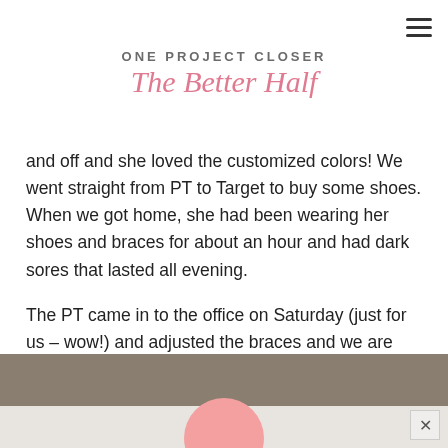ONE PROJECT CLOSER The Better Half
and off and she loved the customized colors! We went straight from PT to Target to buy some shoes. When we got home, she had been wearing her shoes and braces for about an hour and had dark sores that lasted all evening.
The PT came in to the office on Saturday (just for us – wow!) and adjusted the braces and we are slowing wearing them an hour on, an hour off until she can tolerate more and more.
[Figure (photo): Photo showing a carpet/floor area and a pink rounded object (shoe or brace) partially visible]